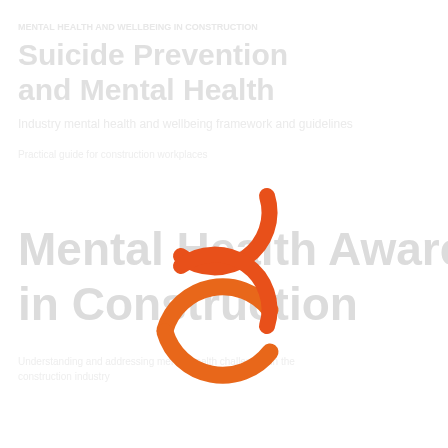[Figure (infographic): A document cover page with faded/watermark-style text content and an orange circular loading spinner graphic overlaid in the center. The background text reads content related to mental health in construction industry, appearing in a very light gray/white color. The orange spinner arc is prominently placed in the center of the page.]